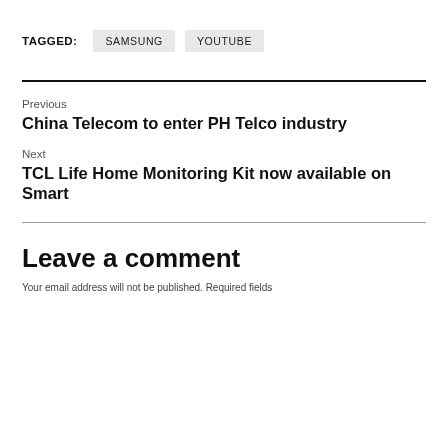TAGGED: SAMSUNG YOUTUBE
Previous
China Telecom to enter PH Telco industry
Next
TCL Life Home Monitoring Kit now available on Smart
Leave a comment
Your email address will not be published. Required fields